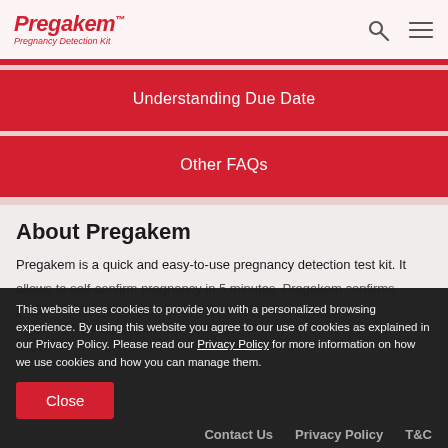Pregakem™ Pregnancy Detection Kit
Understanding Due Date
Other FAQs
About Pregakem
Pregakem is a quick and easy-to-use pregnancy detection test kit. It allows to self-confirm pregnancy in 5 minutes. Pregakem confirms pregnancy by detecting a hormone called human Chorionic Gonadotropin (hCG), a hormone produced by body...
This website uses cookies to provide you with a personalized browsing experience. By using this website you agree to our use of cookies as explained in our Privacy Policy. Please read our Privacy Policy for more information on how we use cookies and how you can manage them.
Contact Us   Privacy Policy   T&C